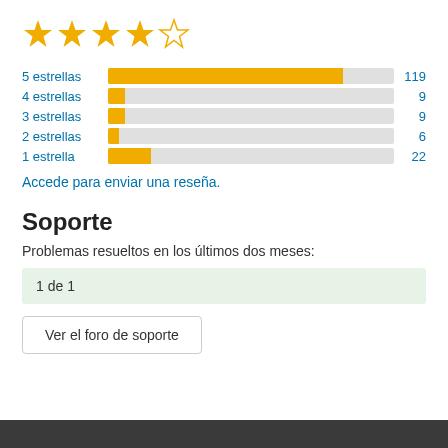[Figure (other): 4.5 out of 5 stars rating: 4 filled stars and 1 empty star]
[Figure (bar-chart): Rating distribution]
Accede para enviar una reseña.
Soporte
Problemas resueltos en los últimos dos meses:
1 de 1
Ver el foro de soporte